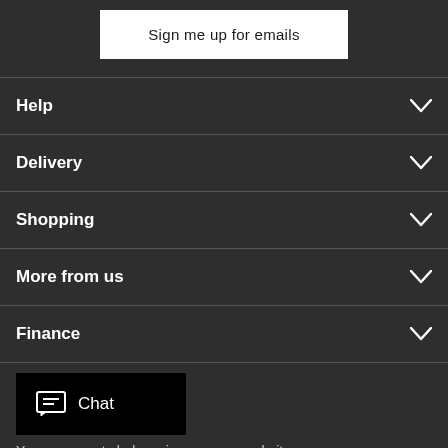Sign me up for emails
Help
Delivery
Shopping
More from us
Finance
Chat
Your comments help us improve our website